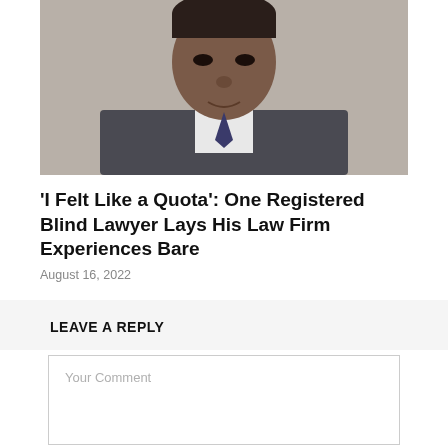[Figure (photo): Portrait photo of a man in a suit, cropped to show face and upper chest, smiling slightly, against a light background.]
'I Felt Like a Quota': One Registered Blind Lawyer Lays His Law Firm Experiences Bare
August 16, 2022
LEAVE A REPLY
Your Comment